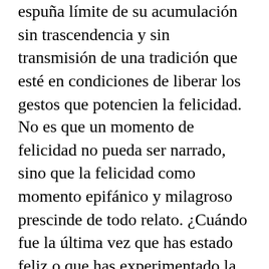espuña límite de su acumulación sin trascendencia y sin transmisión de una tradición que esté en condiciones de liberar los gestos que potencien la felicidad.
No es que un momento de felicidad no pueda ser narrado, sino que la felicidad como momento epifánico y milagroso prescinde de todo relato. ¿Cuándo fue la última vez que has estado feliz o que has experimentado la felicidad? En nuestra época esta pregunta se vuelve esquizofrénica, o abiertamente cínica; siempre vinculada al aparato de la satisfacción. Yo recuerdo un momento específico: era niño, debí tener unos 5 o 6